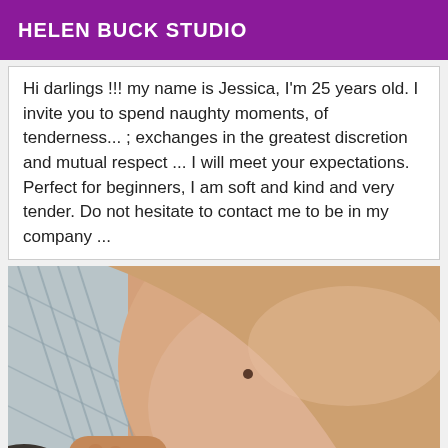HELEN BUCK STUDIO
Hi darlings !!! my name is Jessica, I'm 25 years old. I invite you to spend naughty moments, of tenderness... ; exchanges in the greatest discretion and mutual respect ... I will meet your expectations. Perfect for beginners, I am soft and kind and very tender. Do not hesitate to contact me to be in my company ...
[Figure (photo): Close-up photo of a person's skin/shoulder area with a small mole visible, with patterned fabric in the background]